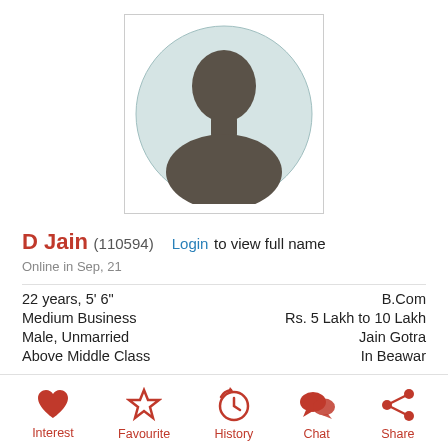[Figure (photo): Default avatar silhouette placeholder image inside a bordered box, showing a generic male bust silhouette on a light teal circular background]
D Jain (110594)  Login to view full name
Online in Sep, 21
22 years, 5' 6"  |  B.Com
Medium Business  |  Rs. 5 Lakh to 10 Lakh
Male, Unmarried  |  Jain Gotra
Above Middle Class  |  In Beawar
[Figure (infographic): Action bar with 5 icons: Interest (heart), Favourite (star), History (clock with arrow), Chat (speech bubbles), Share (share icon). All icons and labels in red.]